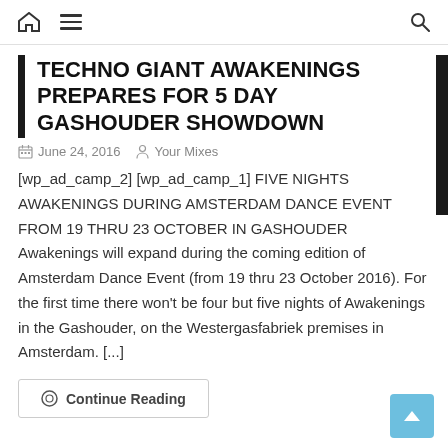Home | Menu | Search
TECHNO GIANT AWAKENINGS PREPARES FOR 5 DAY GASHOUDER SHOWDOWN
June 24, 2016   Your Mixes
[wp_ad_camp_2] [wp_ad_camp_1] FIVE NIGHTS AWAKENINGS DURING AMSTERDAM DANCE EVENT FROM 19 THRU 23 OCTOBER IN GASHOUDER Awakenings will expand during the coming edition of Amsterdam Dance Event (from 19 thru 23 October 2016). For the first time there won't be four but five nights of Awakenings in the Gashouder, on the Westergasfabriek premises in Amsterdam. [...]
Continue Reading